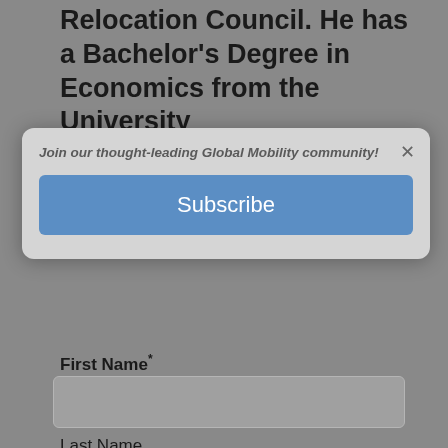Relocation Council. He has a Bachelor's Degree in Economics from the University of Wisconsin, Parkside and works out of his home office in Wisconsin.
[Figure (screenshot): Modal popup overlay with text 'Join our thought-leading Global Mobility community!' and a blue Subscribe button, with an X close button in the top right corner.]
First Name*
Last Name
Email*